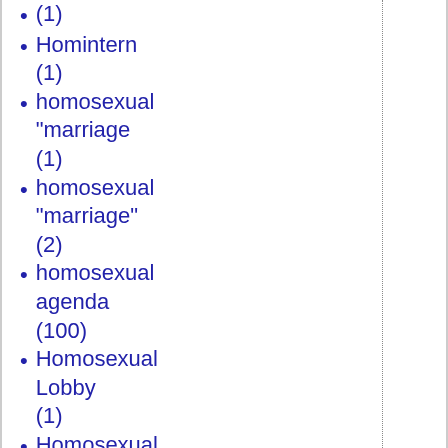(1)
Homintern (1)
homosexual "marriage (1)
homosexual "marriage" (2)
homosexual agenda (100)
Homosexual Lobby (1)
Homosexual Marriage (2)
Homosexuality (11)
homosexuality (6)
honor killing (2)